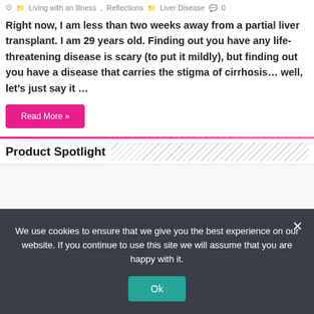⊙ 📁 Living with an Illness, Reflections 📁 Liver Disease 💬 0
Right now, I am less than two weeks away from a partial liver transplant. I am 29 years old. Finding out you have any life-threatening disease is scary (to put it mildly), but finding out you have a disease that carries the stigma of cirrhosis… well, let's just say it …
Read More »
Product Spotlight
[Figure (other): Empty product spotlight content area with light gray background]
We use cookies to ensure that we give you the best experience on our website. If you continue to use this site we will assume that you are happy with it.
Ok